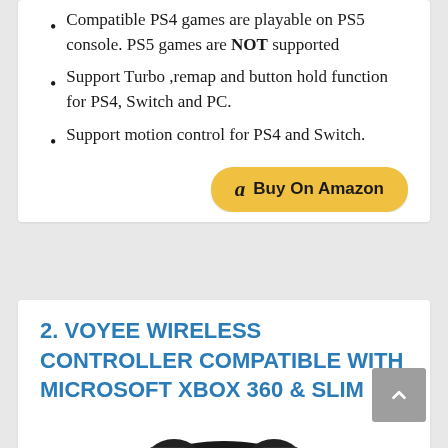Compatible PS4 games are playable on PS5 console. PS5 games are NOT supported
Support Turbo ,remap and button hold function for PS4, Switch and PC.
Support motion control for PS4 and Switch.
[Figure (other): Buy On Amazon button with Amazon logo]
2. VOYEE WIRELESS CONTROLLER COMPATIBLE WITH MICROSOFT XBOX 360 & SLIM
[Figure (photo): Xbox 360 wireless controller image]